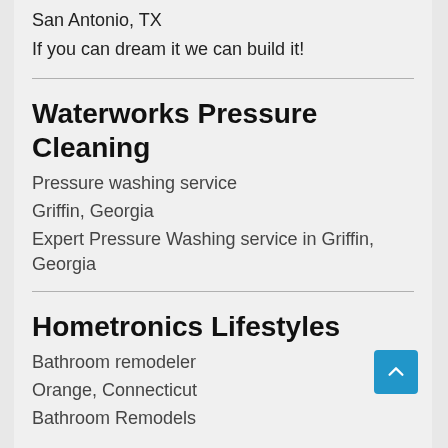San Antonio, TX
If you can dream it we can build it!
Waterworks Pressure Cleaning
Pressure washing service
Griffin, Georgia
Expert Pressure Washing service in Griffin, Georgia
Hometronics Lifestyles
Bathroom remodeler
Orange, Connecticut
Bathroom Remodels